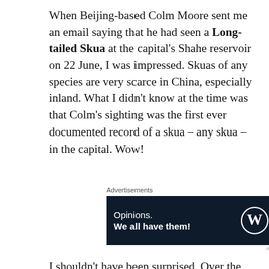When Beijing-based Colm Moore sent me an email saying that he had seen a Long-tailed Skua at the capital's Shahe reservoir on 22 June, I was impressed. Skuas of any species are very scarce in China, especially inland. What I didn't know at the time was that Colm's sighting was the first ever documented record of a skua – any skua – in the capital. Wow!
[Figure (other): WordPress advertisement banner — dark navy background with text 'Opinions. We all have them!' and WordPress logo and Jetpack logo on the right.]
I shouldn't have been surprised. Over the last 18 months or so, Colm has consistently been finding interesting birds at this reservoir, situated between the 5th and 6th ring roads in northern Beijing, demonstrating the benefits of patch birding.  This year alone he has found a feldeggi Black-headed